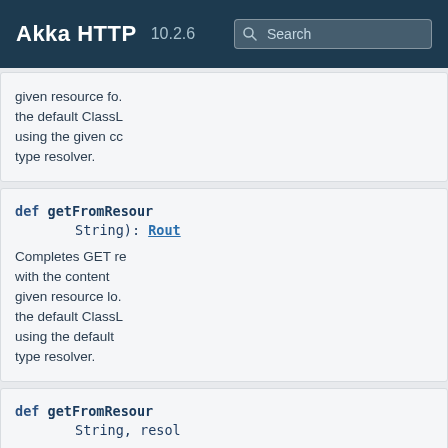Akka HTTP  10.2.6  Search
given resource fo. the default ClassL using the given cc type resolver.
def getFromResour String): Rout
Completes GET re with the content given resource lo. the default ClassL using the default type resolver.
def getFromResour String, resol classLoader:
Same as "getFron not fetched from "resource directo resolving content resolver.